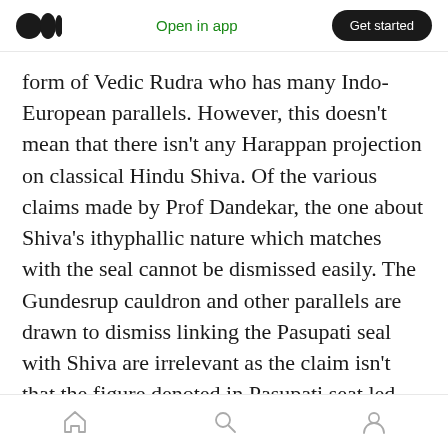Open in app | Get started
form of Vedic Rudra who has many Indo-European parallels. However, this doesn't mean that there isn't any Harappan projection on classical Hindu Shiva. Of the various claims made by Prof Dandekar, the one about Shiva's ithyphallic nature which matches with the seal cannot be dismissed easily. The Gundesrup cauldron and other parallels are drawn to dismiss linking the Pasupati seal with Shiva are irrelevant as the claim isn't that the figure denoted in Pasupati seat led exclusively classical Hindu Shiva, but that it may have contributed
home | search | profile